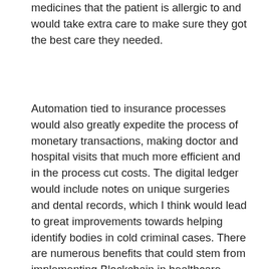medicines that the patient is allergic to and would take extra care to make sure they got the best care they needed.
Automation tied to insurance processes would also greatly expedite the process of monetary transactions, making doctor and hospital visits that much more efficient and in the process cut costs. The digital ledger would include notes on unique surgeries and dental records, which I think would lead to great improvements towards helping identify bodies in cold criminal cases. There are numerous benefits that could stem from implementing Blockchain in healthcare globally (and honestly, a lot of these would benefit even if only implemented nationally). Whether or not it's possible or if it would ever even be considered is an entirely different case- and it would be extremely costly to implement. That being said, the healthcare industry (at least in